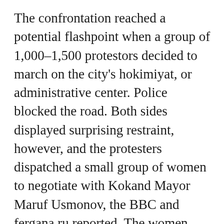The confrontation reached a potential flashpoint when a group of 1,000–1,500 protestors decided to march on the city's hokimiyat, or administrative center. Police blocked the road. Both sides displayed surprising restraint, however, and the protesters dispatched a small group of women to negotiate with Kokand Mayor Maruf Usmonov, the BBC and fergana.ru reported. The women raised a number of grievances with Usmonov, discussing not only the new trading regulations, but also unpaid salaries, periodic electrical outages, intermittent gas supplies, and unemployment in the city. The mayor succeeded in defusing the situation with a promise to suspend the new regulations, although he stressed that he lacked the authority to repeal them. According to IWPR and the BBC, the crowd dispersed later in the day after Usmonov addressed them.